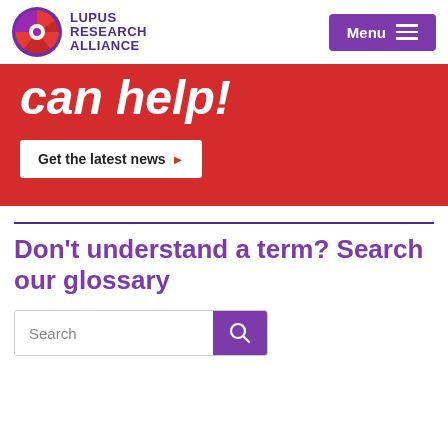LUPUS RESEARCH ALLIANCE | Menu
can help!
Get the latest news ▶
Don't understand a term? Search our glossary
Search